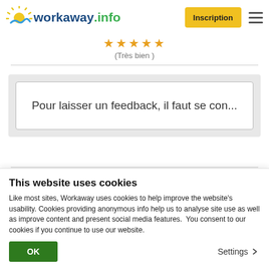[Figure (logo): workaway.info logo with sun graphic]
Inscription
★★★★★ (Très bien )
Pour laisser un feedback, il faut se con...
This website uses cookies
Like most sites, Workaway uses cookies to help improve the website's usability. Cookies providing anonymous info help us to analyse site use as well as improve content and present social media features.  You consent to our cookies if you continue to use our website.
OK
Settings